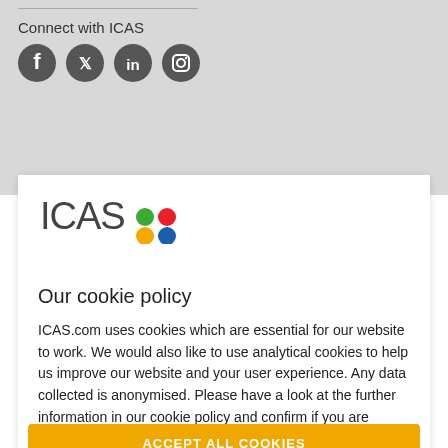Connect with ICAS
[Figure (logo): ICAS logo with colored dots (green, red, yellow, blue)]
Our cookie policy
ICAS.com uses cookies which are essential for our website to work. We would also like to use analytical cookies to help us improve our website and your user experience. Any data collected is anonymised. Please have a look at the further information in our cookie policy and confirm if you are happy for us to use analytical cookies:
ACCEPT ALL COOKIES